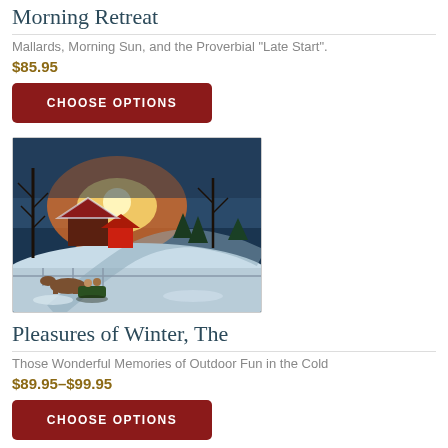Morning Retreat
Mallards, Morning Sun, and the Proverbial "Late Start".
$85.95
CHOOSE OPTIONS
[Figure (illustration): Winter countryside scene with horse-drawn sleigh, snow-covered farm buildings, bare trees, and a glowing sunset sky]
Pleasures of Winter, The
Those Wonderful Memories of Outdoor Fun in the Cold
$89.95–$99.95
CHOOSE OPTIONS